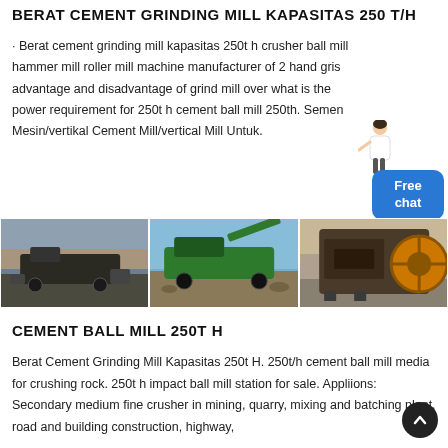BERAT CEMENT GRINDING MILL KAPASITAS 250 T/H
· Berat cement grinding mill kapasitas 250t h crusher ball mill hammer mill roller mill machine manufacturer of 2 hand gris advantage and disadvantage of grind mill over what is the power requirement for 250t h cement ball mill 250th. Semen Mesin/vertikal Cement Mill/vertical Mill Untuk.
[Figure (photo): Three industrial photos showing crushing/grinding mill equipment: a mobile crushing plant at dusk, a green mobile impact crusher processing rock/gravel outdoors, and an indoor jaw crusher machine with flywheel.]
CEMENT BALL MILL 250T H
Berat Cement Grinding Mill Kapasitas 250t H. 250t/h cement ball mill media for crushing rock. 250t h impact ball mill station for sale. Appliions: Secondary medium fine crusher in mining, quarry, mixing and batching plant, road and building construction, highway,